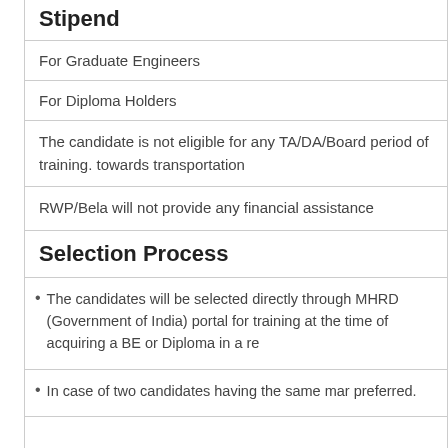Stipend
| For Graduate Engineers |
| For Diploma Holders |
| The candidate is not eligible for any TA/DA/Board period of training. towards transportation |
| RWP/Bela will not provide any financial assistance |
Selection Process
The candidates will be selected directly through MHRD (Government of India) portal for training at the time of acquiring a BE or Diploma in a re
In case of two candidates having the same mar preferred.